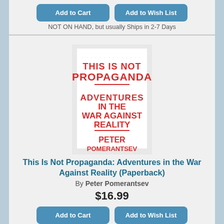[Figure (other): Two blue rounded buttons: 'Add to Cart' and 'Add to Wish List' at top of page (partially visible)]
NOT ON HAND, but usually Ships in 2-7 Days
[Figure (photo): Book cover of 'This Is Not Propaganda: Adventures in the War Against Reality' by Peter Pomerantsev — red and white cover with bold text]
This Is Not Propaganda: Adventures in the War Against Reality (Paperback)
By Peter Pomerantsev
$16.99
[Figure (other): Two blue rounded buttons: 'Add to Cart' and 'Add to Wish List']
NOT ON HAND, but usually Ships in 2-7 Days
[Figure (photo): Book cover of 'Speechless' — red cover with beige oval shape, '#1 National Bestseller' banner at top]